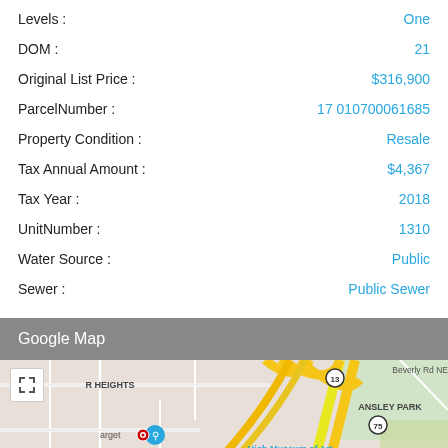| Field | Value |
| --- | --- |
| Levels : | One |
| DOM : | 21 |
| Original List Price : | $316,900 |
| ParcelNumber : | 17 010700061685 |
| Property Condition : | Resale |
| Tax Annual Amount : | $4,367 |
| Tax Year : | 2018 |
| UnitNumber : | 1310 |
| Water Source : | Public |
| Sewer : | Public Sewer |
Google Map
[Figure (map): Google Map showing area around High Museum of Art, Atlanta, including Beverly Rd NE, Ansley Park, Atlantic district, route 13 and 75 highway interchange, Target store, and Atlanta Botanical Garden area.]